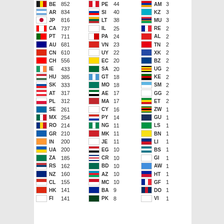| Flag | Code | Value |
| --- | --- | --- |
| BE | 852 |
| AR | 834 |
| JP | 816 |
| CA | 737 |
| PT | 711 |
| AU | 681 |
| CN | 610 |
| CH | 556 |
| IE | 433 |
| HU | 385 |
| SK | 333 |
| AT | 317 |
| PL | 312 |
| SE | 261 |
| MX | 254 |
| RO | 214 |
| GR | 210 |
| IN | 200 |
| UA | 200 |
| ZA | 185 |
| RS | 162 |
| NZ | 160 |
| CL | 155 |
| HK | 141 |
| FI | 141 |
| PE | 44 |
| SI | 40 |
| LT | 38 |
| IL | 25 |
| PA | 24 |
| VN | 23 |
| UY | 22 |
| EC | 20 |
| SA | 20 |
| GT | 18 |
| MO | 18 |
| AE | 17 |
| MA | 17 |
| CY | 16 |
| PY | 14 |
| NG | 11 |
| MK | 11 |
| JE | 11 |
| EG | 10 |
| CR | 10 |
| BD | 10 |
| AZ | 10 |
| MC | 10 |
| BA | 9 |
| PK | 8 |
| AM | 3 |
| KZ | 3 |
| MU | 3 |
| RE | 2 |
| AL | 2 |
| TN | 2 |
| XK | 2 |
| BZ | 2 |
| UG | 2 |
| KE | 2 |
| SM | 2 |
| GG | 2 |
| ET | 2 |
| ZW | 1 |
| GU | 1 |
| LS | 1 |
| BN | 1 |
| LI | 1 |
| BS | 1 |
| GI | 1 |
| AW | 1 |
| HT | 1 |
| GF | 1 |
| DO | 1 |
| VI | 1 |